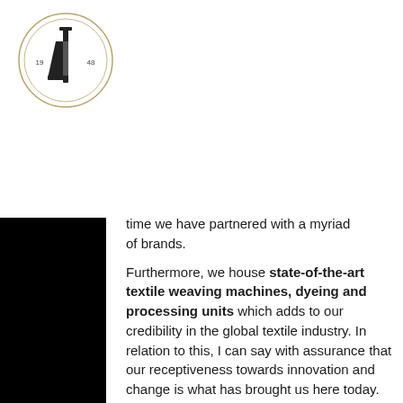[Figure (logo): Circular logo with decorative border, text '19 48' and a stylized letter/key shape in the center]
time we have partnered with a myriad of brands.
Furthermore, we house state-of-the-art textile weaving machines, dyeing and processing units which adds to our credibility in the global textile industry. In relation to this, I can say with assurance that our receptiveness towards innovation and change is what has brought us here today.
Shariq Ahmad
Chief Executive